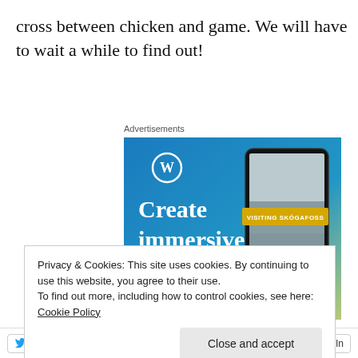cross between chicken and game. We will have to wait a while to find out!
Advertisements
[Figure (photo): WordPress advertisement showing 'Create immersive stories.' text on a blue gradient background with a phone mockup displaying 'VISITING SKOGAFOSS' and a waterfall scene with a person in a yellow jacket.]
Privacy & Cookies: This site uses cookies. By continuing to use this website, you agree to their use.
To find out more, including how to control cookies, see here: Cookie Policy
Close and accept
Twitter  Facebook  Reddit  Pocket  LinkedIn